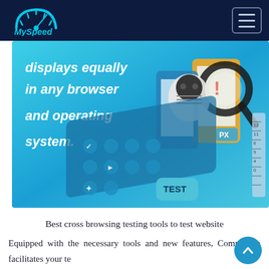MySpeed
[Figure (illustration): Hero banner with text 'displays equally in any browser and operating system.' overlaid on an isometric illustration of digital devices, a calculator, magnifying glass, and TEST button on a blue gradient background.]
Best cross browsing testing tools to test website
Equipped with the necessary tools and new features, Comparium facilitates your testing routine in one place and automatically detects